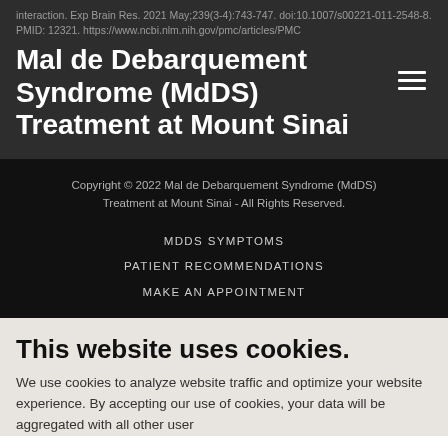interaction. Exp Brain Res. 2021 May;239(3-4):743-747. doi:10.1007/s00221-011-2548-8. PMID: 12321. https://www.ncbi.nlm.nih.gov/pmc/articles/PMC...
Mal de Debarquement Syndrome (MdDS) Treatment at Mount Sinai
Copyright © 2022 Mal de Debarquement Syndrome (MdDS) Treatment at Mount Sinai - All Rights Reserved.
MDDS SYMPTOMS
PATIENT RECOMMENDATIONS
MAKE AN APPOINTMENT
This website uses cookies.
We use cookies to analyze website traffic and optimize your website experience. By accepting our use of cookies, your data will be aggregated with all other user...